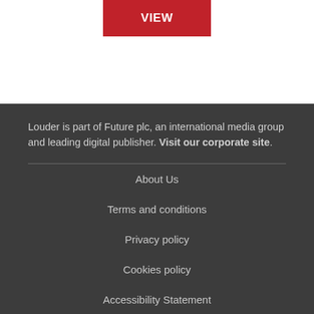[Figure (other): Red button labeled VIEW]
Louder is part of Future plc, an international media group and leading digital publisher. Visit our corporate site.
About Us
Terms and conditions
Privacy policy
Cookies policy
Accessibility Statement